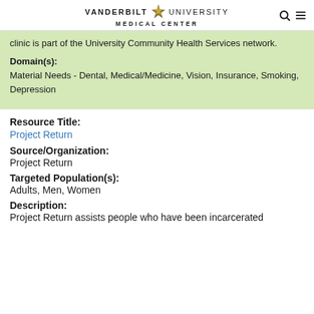VANDERBILT UNIVERSITY MEDICAL CENTER
clinic is part of the University Community Health Services network.
Domain(s):
Material Needs - Dental, Medical/Medicine, Vision, Insurance, Smoking, Depression
Resource Title:
Project Return
Source/Organization:
Project Return
Targeted Population(s):
Adults, Men, Women
Description:
Project Return assists people who have been incarcerated